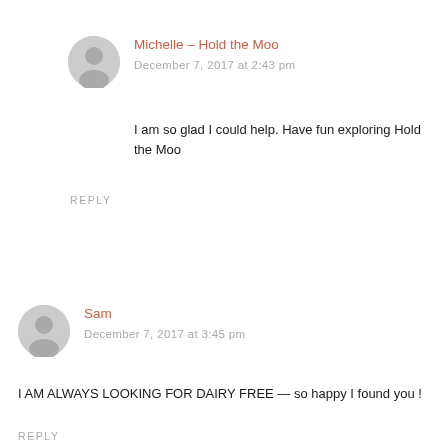Michelle – Hold the Moo
December 7, 2017 at 2:43 pm
I am so glad I could help. Have fun exploring Hold the Moo
REPLY
Sam
December 7, 2017 at 3:45 pm
I AM ALWAYS LOOKING FOR DAIRY FREE — so happy I found you !
REPLY